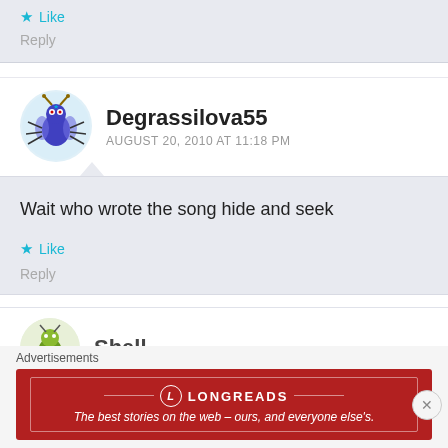Like
Reply
Degrassilova55
AUGUST 20, 2010 AT 11:18 PM
Wait who wrote the song hide and seek
Like
Reply
Shell
Advertisements
LONGREADS
The best stories on the web – ours, and everyone else's.